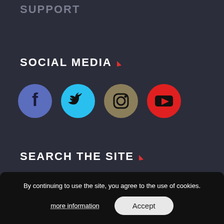SUPPORT
SOCIAL MEDIA
[Figure (other): Four social media icons in circles: Facebook (blue-purple), Twitter (cyan), Instagram (tan/gold), YouTube (red)]
SEARCH THE SITE
By continuing to use the site, you agree to the use of cookies.
more information
Accept